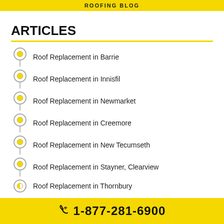ROOFING BLOG
ARTICLES
Roof Replacement in Barrie
Roof Replacement in Innisfil
Roof Replacement in Newmarket
Roof Replacement in Creemore
Roof Replacement in New Tecumseth
Roof Replacement in Stayner, Clearview
Roof Replacement in Thornbury
OUR LOCATION
1-877-281-6900